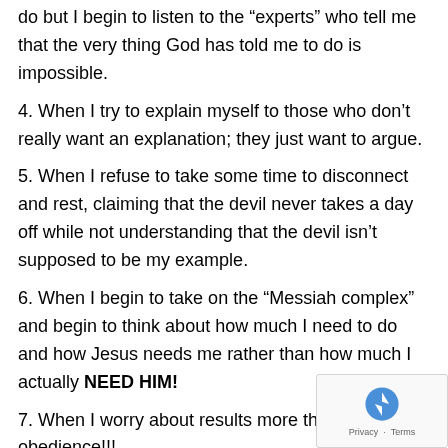do but I begin to listen to the “experts” who tell me that the very thing God has told me to do is impossible.
4. When I try to explain myself to those who don’t really want an explanation; they just want to argue.
5. When I refuse to take some time to disconnect and rest, claiming that the devil never takes a day off while not understanding that the devil isn’t supposed to be my example.
6. When I begin to take on the “Messiah complex” and begin to think about how much I need to do and how Jesus needs me rather than how much I actually NEED HIM!
7. When I worry about results more than obedience!!!
8. When I focus on the size of the problem rather tha size of God!